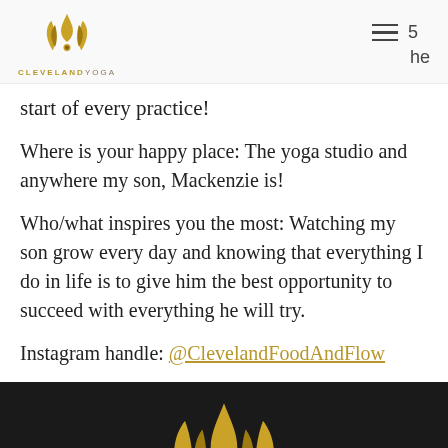[Figure (logo): Cleveland Yoga logo with golden flame/leaf design above text CLEVELANDYOGA]
start of every practice!
Where is your happy place: The yoga studio and anywhere my son, Mackenzie is!
Who/what inspires you the most: Watching my son grow every day and knowing that everything I do in life is to give him the best opportunity to succeed with everything he will try.
Instagram handle: @ClevelandFoodAndFlow
[Figure (logo): Cleveland Yoga logo on dark/black background — golden flame/lotus design]